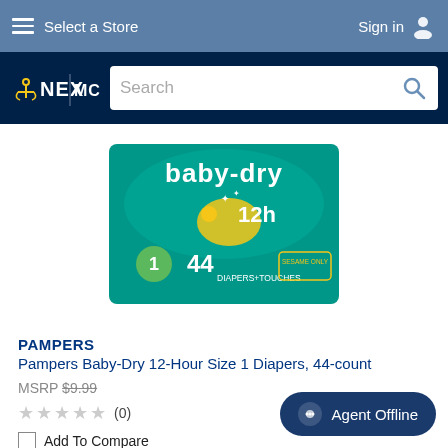Select a Store | Sign in
[Figure (screenshot): NEX / MCX logo and search bar on dark navy background]
[Figure (photo): Pampers Baby-Dry 12-Hour Size 1 Diapers 44-count package on teal/green background]
PAMPERS
Pampers Baby-Dry 12-Hour Size 1 Diapers, 44-count
MSRP $9.99
★★★★★ (0)
Add To Compare